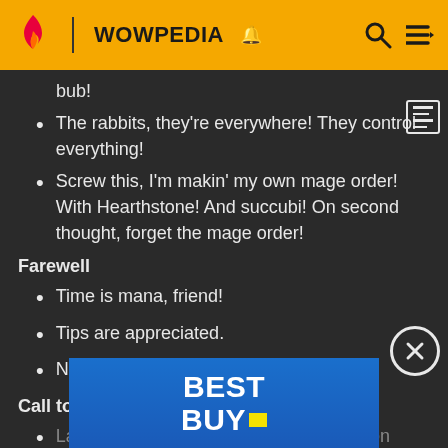WOWPEDIA
bub!
The rabbits, they're everywhere! They control everything!
Screw this, I'm makin' my own mage order! With Hearthstone! And succubi! On second thought, forget the mage order!
Farewell
Time is mana, friend!
Tips are appreciated.
Now where'd that rabbit run off to?
Call to action
Ladies and gentlemen, feast your eyes on these feas of
Step up, step up! Witness the magical talents of the
[Figure (other): Best Buy advertisement banner overlay]